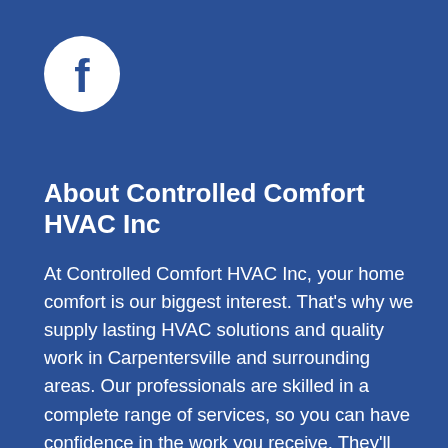[Figure (logo): Facebook logo: white circle with dark blue lowercase 'f' letter inside]
About Controlled Comfort HVAC Inc
At Controlled Comfort HVAC Inc, your home comfort is our biggest interest. That's why we supply lasting HVAC solutions and quality work in Carpentersville and surrounding areas. Our professionals are skilled in a complete range of services, so you can have confidence in the work you receive. They'll give the help you are seeking, whether it's installing an up-to-date HVAC system or servicing and inspecting your current equipment. We're here to help with all of your